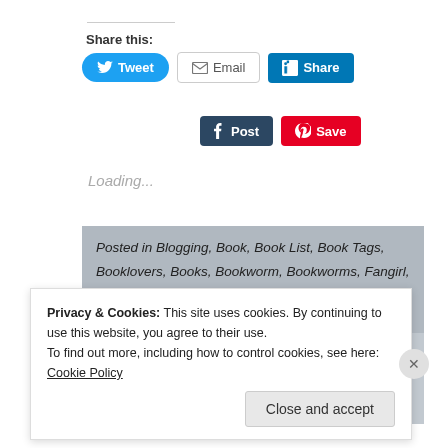Share this:
[Figure (screenshot): Social share buttons: Tweet (Twitter/blue), Email (white/gray border), Share (LinkedIn/blue), Post (Tumblr/dark blue), Save (Pinterest/red)]
Loading...
Posted in Blogging, Book, Book List, Book Tags, Booklovers, Books, Bookworm, Bookworms, Fangirl, Read, Reader, Reading, Reading List, Tags, Writer, Writing, Writing Prompts
Tagged Blogging, Book, Book List, Book lists, Book Tags, Booklovers, Books, Books List, Bookworm, Bookworms, Fangirl, Game Of Thrones
Privacy & Cookies: This site uses cookies. By continuing to use this website, you agree to their use.
To find out more, including how to control cookies, see here: Cookie Policy
Close and accept